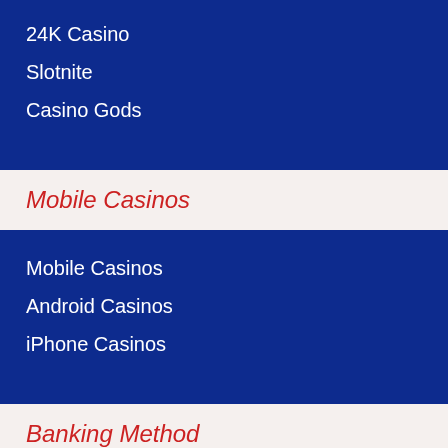24K Casino
Slotnite
Casino Gods
Mobile Casinos
Mobile Casinos
Android Casinos
iPhone Casinos
Banking Method
Skrill online Casinos
Neteller Online Casinos
MasterCard Online Casinos
Visa Online Casinos